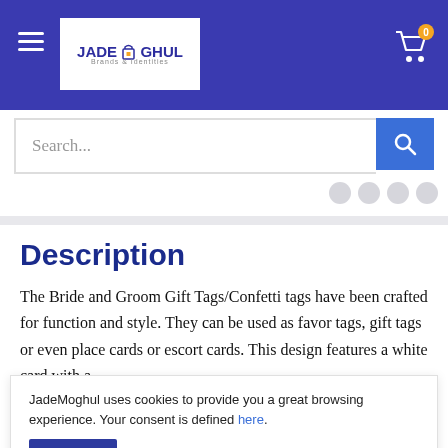JadeMoghul - header with logo, hamburger menu, cart icon
Search...
Description
The Bride and Groom Gift Tags/Confetti tags have been crafted for function and style. They can be used as favor tags, gift tags or even place cards or escort cards. This design features a white card with a
JadeMoghul uses cookies to provide you a great browsing experience. Your consent is defined here.
Sure!